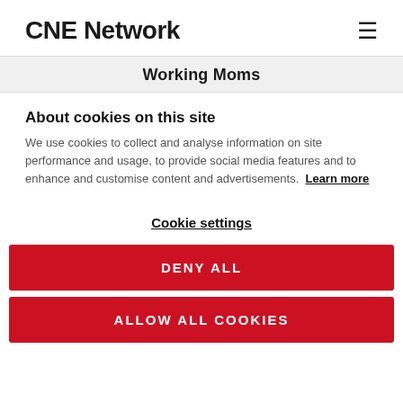CNE Network
Working Moms
About cookies on this site
We use cookies to collect and analyse information on site performance and usage, to provide social media features and to enhance and customise content and advertisements. Learn more
Cookie settings
DENY ALL
ALLOW ALL COOKIES